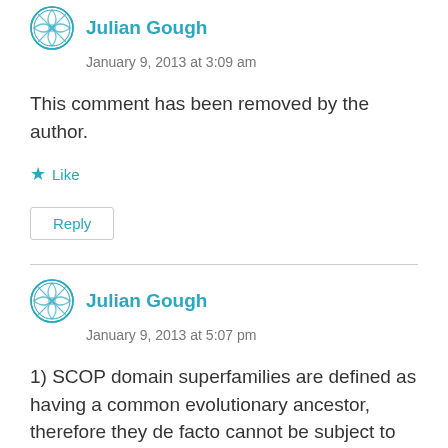Julian Gough
January 9, 2013 at 3:09 am
This comment has been removed by the author.
Like
Reply
Julian Gough
January 9, 2013 at 5:07 pm
1) SCOP domain superfamilies are defined as having a common evolutionary ancestor, therefore they de facto cannot be subject to